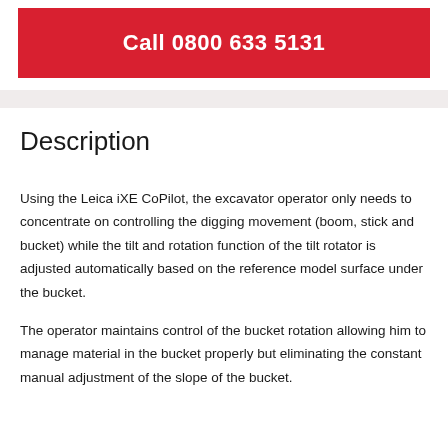Call 0800 633 5131
Description
Using the Leica iXE CoPilot, the excavator operator only needs to concentrate on controlling the digging movement (boom, stick and bucket) while the tilt and rotation function of the tilt rotator is adjusted automatically based on the reference model surface under the bucket.
The operator maintains control of the bucket rotation allowing him to manage material in the bucket properly but eliminating the constant manual adjustment of the slope of the bucket.